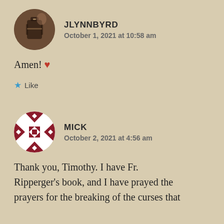JLYNNBYRD
October 1, 2021 at 10:58 am
Amen! ❤
★ Like
MICK
October 2, 2021 at 4:56 am
Thank you, Timothy. I have Fr. Ripperger's book, and I have prayed the prayers for the breaking of the curses that